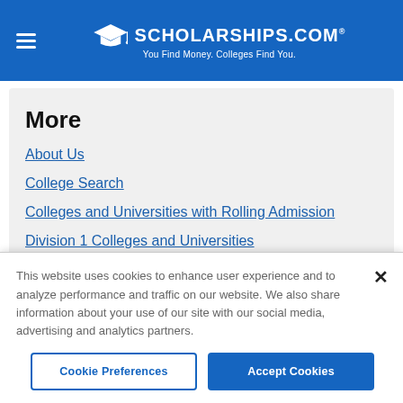SCHOLARSHIPS.COM® — You Find Money. Colleges Find You.
More
About Us
College Search
Colleges and Universities with Rolling Admission
Division 1 Colleges and Universities
This website uses cookies to enhance user experience and to analyze performance and traffic on our website. We also share information about your use of our site with our social media, advertising and analytics partners.
Cookie Preferences | Accept Cookies